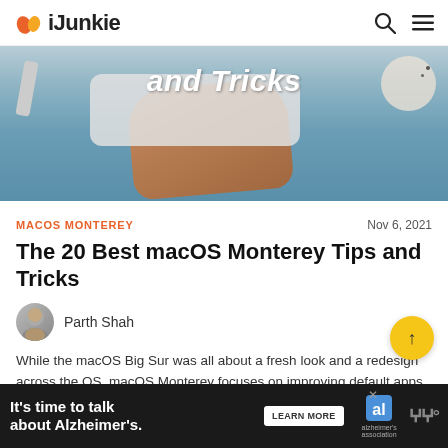iJunkie
[Figure (photo): Hero image showing a hand touching an Apple trackpad on a blue desk surface, with text 'and Tricks' overlaid in white bold italic font. A small plate with debris visible in the top right corner.]
MACOS MONTEREY
Nov 6, 2021
The 20 Best macOS Monterey Tips and Tricks
Parth Shah
While the macOS Big Sur was all about a fresh look and a redesign across the OS, macOS Monterey focuses on improving default apps and their features. With macOS Monterey, Apple is further bridging the
[Figure (other): Alzheimer's association advertisement banner: 'It's time to talk about Alzheimer's.' with LEARN MORE button and Alzheimer's Association logo on dark background.]